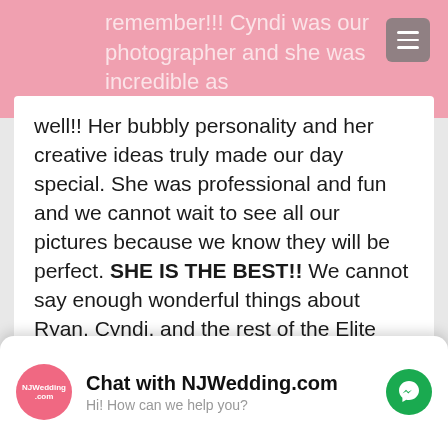remember!!! Cyndi was our photographer and she was incredible as well!!
well!! Her bubbly personality and her creative ideas truly made our day special. She was professional and fun and we cannot wait to see all our pictures because we know they will be perfect. SHE IS THE BEST!! We cannot say enough wonderful things about Ryan, Cyndi, and the rest of the Elite team!
— Submitted by Melissa
[Figure (other): Five gold star rating icons]
Jay was phenomenal! The dance floor was packed all night. Our rental dj...
Chat with NJWedding.com
Hi! How can we help you?